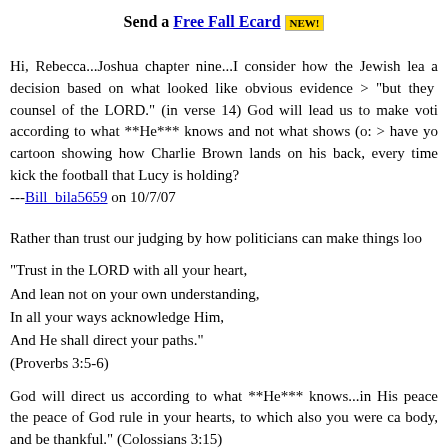Send a Free Fall Ecard NEW!
Hi, Rebecca...Joshua chapter nine...I consider how the Jewish lea a decision based on what looked like obvious evidence > "but they counsel of the LORD." (in verse 14) God will lead us to make voti according to what **He*** knows and not what shows (o: > have yo cartoon showing how Charlie Brown lands on his back, every time kick the football that Lucy is holding?
---Bill_bila5659 on 10/7/07
Rather than trust our judging by how politicians can make things loo
"Trust in the LORD with all your heart,
And lean not on your own understanding,
In all your ways acknowledge Him,
And He shall direct your paths."
(Proverbs 3:5-6)
God will direct us according to what **He*** knows...in His peace the peace of God rule in your hearts, to which also you were ca body, and be thankful." (Colossians 3:15)
---Bill_bila5659 on 10/7/07
Who says Christians should vote? Democracy is paganism, and are to come out of the world.